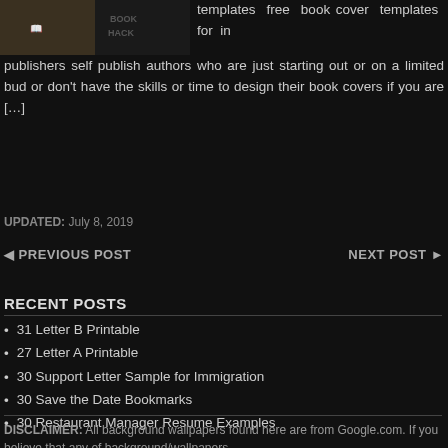[Figure (photo): Partial book cover image visible at top left]
templates free book cover templates for in publishers self publish authors who are just starting out or on a limited bud or don't have the skills or time to design their book covers if you are […]
UPDATED: July 8, 2019
◄ PREVIOUS POST    NEXT POST ►
RECENT POSTS
31 Letter B Printable
27 Letter A Printable
30 Support Letter Sample for Immigration
30 Save the Date Bookmarks
30 Restaurant Manager Resume Examples
DISCLAIMER: All background wallpapers found here are from Google.com. If you believe that any of background/wallpapers